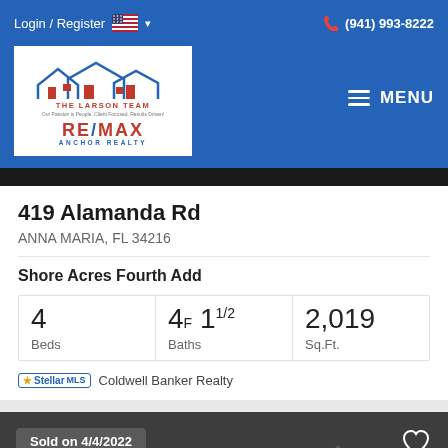Login / Register  (941) 993-8222
[Figure (logo): The Larson Team RE/MAX Anchor Realty logo]
419 Alamanda Rd
ANNA MARIA, FL 34216
Shore Acres Fourth Add
| Beds | Baths | Sq.Ft. |
| --- | --- | --- |
| 4 | 4F 11/2 | 2,019 |
Coldwell Banker Realty
Sold on 4/4/2022